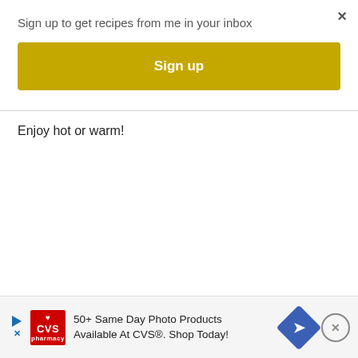×
Sign up to get recipes from me in your inbox
[Figure (other): Yellow/gold 'Sign up' button]
Enjoy hot or warm!
[Figure (other): CVS Pharmacy advertisement banner: '50+ Same Day Photo Products Available At CVS®. Shop Today!']